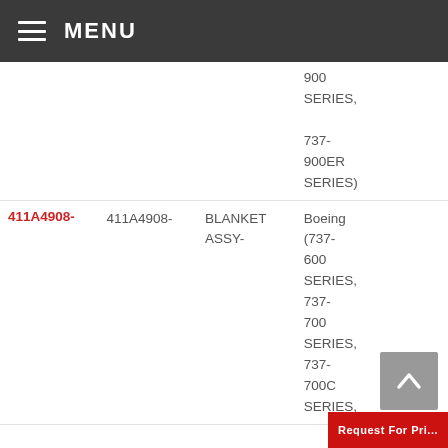MENU
| Part Number | Alt Part Number | Description | Application |
| --- | --- | --- | --- |
|  |  |  | 900 SERIES, 737-900ER SERIES) |
| 411A4908- | 411A4908- | BLANKET ASSY- | Boeing (737-600 SERIES, 737-700 SERIES, 737-700C SERIES, |